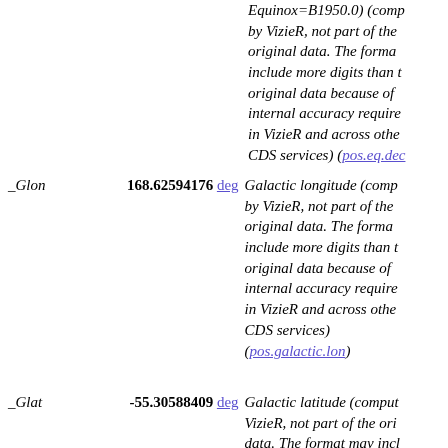Equinox=B1950.0) (computed by VizieR, not part of the original data. The format may include more digits than the original data because of internal accuracy requirements in VizieR and across other CDS services) (pos.eq.dec)
_Glon   168.62594176 deg   Galactic longitude (computed by VizieR, not part of the original data. The format may include more digits than the original data because of internal accuracy requirements in VizieR and across other CDS services) (pos.galactic.lon)
_Glat   -55.30588409 deg   Galactic latitude (computed by VizieR, not part of the original data. The format may include more digits than the original data because of internal accuracy requirements in VizieR and across other CDS services) (pos.galactic.lat)